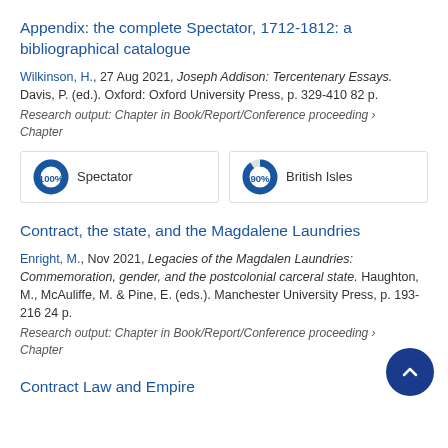Appendix: the complete Spectator, 1712-1812: a bibliographical catalogue
Wilkinson, H., 27 Aug 2021, Joseph Addison: Tercentenary Essays. Davis, P. (ed.). Oxford: Oxford University Press, p. 329-410 82 p.
Research output: Chapter in Book/Report/Conference proceeding › Chapter
[Figure (infographic): Two donut chart badges side by side: '100% Spectator' and '90% British Isles']
Contract, the state, and the Magdalene Laundries
Enright, M., Nov 2021, Legacies of the Magdalen Laundries: Commemoration, gender, and the postcolonial carceral state. Haughton, M., McAuliffe, M. & Pine, E. (eds.). Manchester University Press, p. 193-216 24 p.
Research output: Chapter in Book/Report/Conference proceeding › Chapter
Contract Law and Empire